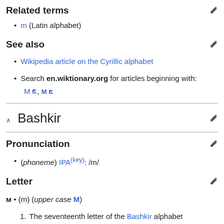Related terms
m (Latin alphabet)
See also
Wikipedia article on the Cyrillic alphabet
Search en.wiktionary.org for articles beginning with: M, М
Bashkir
Pronunciation
(phoneme) IPA(key): /m/
Letter
м • (m) (upper case М)
1. The seventeenth letter of the Bashkir alphabet